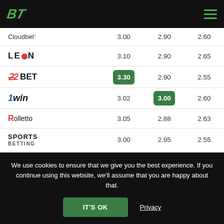BT logo and hamburger menu
|  | Col1 | Col2 | Col3 |
| --- | --- | --- | --- |
| Cloudbet | 3.00 | 2.90 | 2.60 |
| LEON | 3.10 | 2.90 | 2.65 |
| ZBET | 3.30 | 2.90 | 2.55 |
| 1win | 3.02 | 3.00 | 2.60 |
| Rolletto | 3.05 | 2.88 | 2.63 |
| SPORTS BETTING | 3.00 | 2.95 | 2.55 |
| Average Odds | 3.07 | 2.91 | 2.62 |
We use cookies to ensure that we give you the best experience. If you continue using this website, we'll assume that you are happy about that.
IT'S OK
Privacy